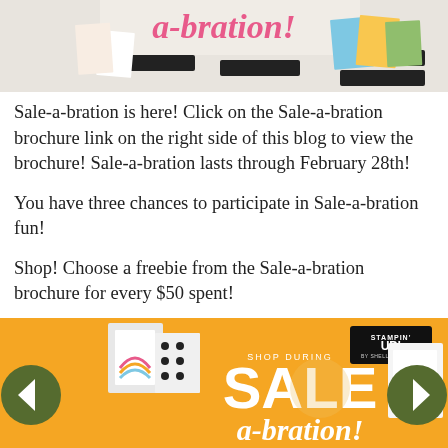[Figure (photo): Top banner image showing Stampin' Up! crafting supplies, card-making products, and the 'a-bration!' text in pink on a light background]
Sale-a-bration is here! Click on the Sale-a-bration brochure link on the right side of this blog to view the brochure! Sale-a-bration lasts through February 28th!
You have three chances to participate in Sale-a-bration fun!
Shop! Choose a freebie from the Sale-a-bration brochure for every $50 spent!
[Figure (photo): Bottom banner image with orange/yellow background showing Stampin' Up! logo and large text reading 'SHOP DURING SALE a-bration!' with craft supplies and navigation arrows on left and right sides]